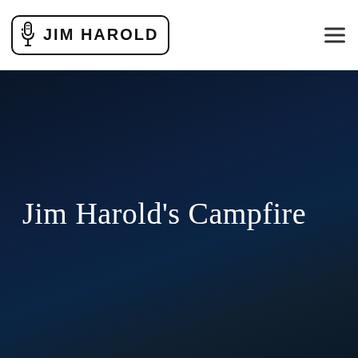[Figure (logo): Jim Harold logo with microphone icon inside a rounded rectangle border, text reads JIM HAROLD in bold uppercase letters]
[Figure (other): Hamburger menu icon with three horizontal lines]
Jim Harold's Campfire